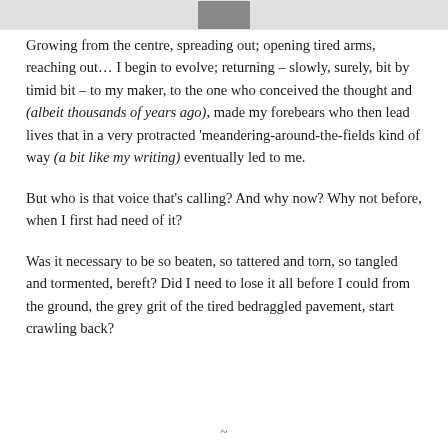[Figure (photo): Partial photo strip at top of page, mostly obscured]
Growing from the centre, spreading out; opening tired arms, reaching out... I begin to evolve; returning – slowly, surely, bit by timid bit – to my maker, to the one who conceived the thought and (albeit thousands of years ago), made my forebears who then lead lives that in a very protracted 'meandering-around-the-fields kind of way (a bit like my writing) eventually led to me.
But who is that voice that's calling? And why now? Why not before, when I first had need of it?
Was it necessary to be so beaten, so tattered and torn, so tangled and tormented, bereft? Did I need to lose it all before I could from the ground, the grey grit of the tired bedraggled pavement, start crawling back?
~